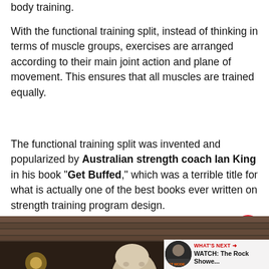body training.
With the functional training split, instead of thinking in terms of muscle groups, exercises are arranged according to their main joint action and plane of movement. This ensures that all muscles are trained equally.
The functional training split was invented and popularized by Australian strength coach Ian King in his book “Get Buffed,” which was a terrible title for what is actually one of the best books ever written on strength training program design.
[Figure (photo): Photo of a bald man, partially visible at bottom of page, with a wooden ceiling structure visible in the background. A 'WHAT'S NEXT' overlay panel appears in the bottom right with a thumbnail image and text 'WATCH: The Rock Showe...']